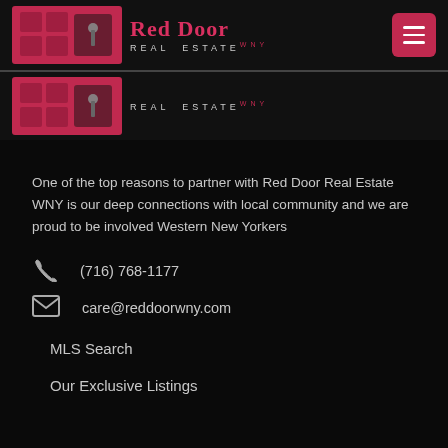[Figure (logo): Red Door Real Estate WNY logo with red door graphic and text, plus hamburger menu button]
[Figure (logo): Partial Red Door Real Estate WNY logo (cropped repeat), showing REAL ESTATE WNY text]
One of the top reasons to partner with Red Door Real Estate WNY is our deep connections with local community and we are proud to be involved Western New Yorkers
(716) 768-1177
care@reddoorwny.com
MLS Search
Our Exclusive Listings